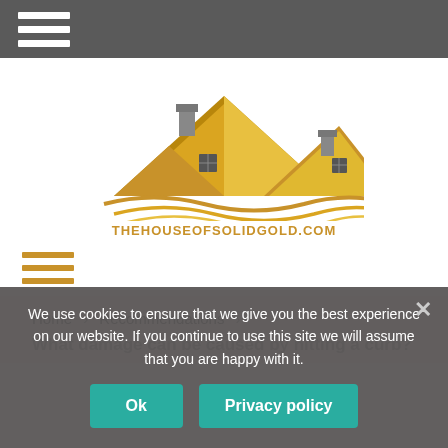[Figure (logo): Top dark navigation bar with white hamburger menu icon (three horizontal lines)]
[Figure (logo): The House of Solid Gold logo: golden rooftops illustration with text THEHOUSEOFSOLIDGOLD.COM below in gold/brown color]
[Figure (illustration): Gold/orange hamburger menu icon (three horizontal lines) on white background]
Home > Recommendations >
What damage can be caused by hitting a curb?
We use cookies to ensure that we give you the best experience on our website. If you continue to use this site we will assume that you are happy with it.
Ok
Privacy policy